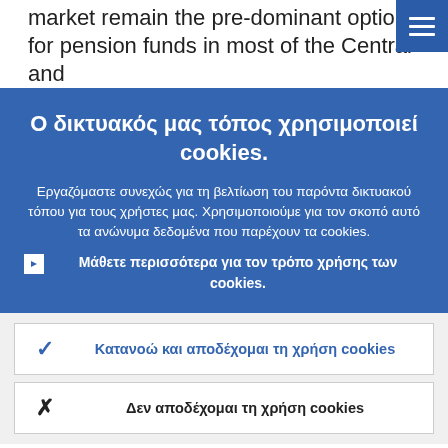market remain the pre-dominant option for pension funds in most of the Central and
[Figure (screenshot): Hamburger menu icon (three horizontal lines) on blue background, top right corner]
Ο δικτυακός μας τόπος χρησιμοποιεί cookies.
Εργαζόμαστε συνεχώς για τη βελτίωση του παρόντα δικτυακού τόπου για τους χρήστες μας. Χρησιμοποιούμε για τον σκοπό αυτό τα ανώνυμα δεδομένα που παρέχουν τα cookies.
Μάθετε περισσότερα για τον τρόπο χρήσης των cookies.
✓  Κατανοώ και αποδέχομαι τη χρήση cookies
✕  Δεν αποδέχομαι τη χρήση cookies